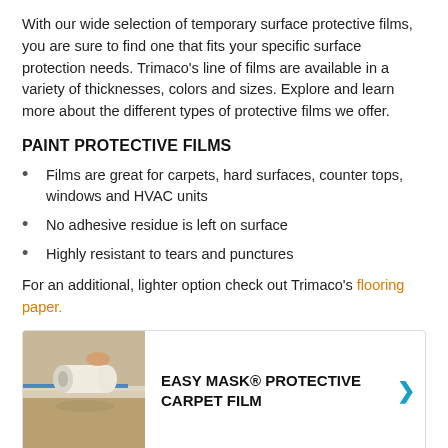With our wide selection of temporary surface protective films, you are sure to find one that fits your specific surface protection needs. Trimaco's line of films are available in a variety of thicknesses, colors and sizes. Explore and learn more about the different types of protective films we offer.
PAINT PROTECTIVE FILMS
Films are great for carpets, hard surfaces, counter tops, windows and HVAC units
No adhesive residue is left on surface
Highly resistant to tears and punctures
For an additional, lighter option check out Trimaco's flooring paper.
[Figure (photo): Product card showing a roll of protective carpet film being applied, with text EASY MASK® PROTECTIVE CARPET FILM and a blue arrow.]